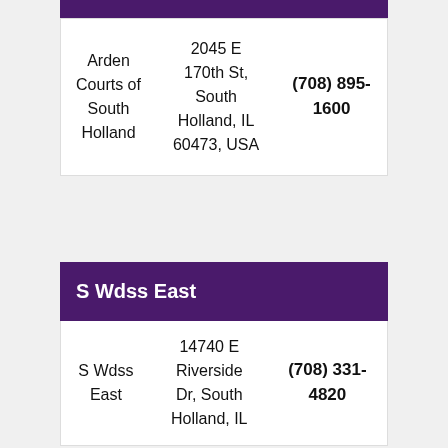| Name | Address | Phone |
| --- | --- | --- |
| Arden Courts of South Holland | 2045 E 170th St, South Holland, IL 60473, USA | (708) 895-1600 |
S Wdss East
| Name | Address | Phone |
| --- | --- | --- |
| S Wdss East | 14740 E Riverside Dr, South Holland, IL | (708) 331-4820 |